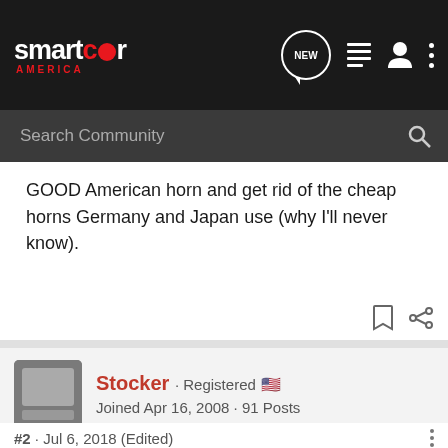smartcar America - NEW - Search Community
GOOD American horn and get rid of the cheap horns Germany and Japan use (why I'll never know).
Stocker · Registered 🇺🇸
Joined Apr 16, 2008 · 91 Posts
#2 · Jul 6, 2018 (Edited)
Tutorial: Replacing the factory horn
https://www.smartcarofamerica.com/forums/f377/tutorial-replacing-factory-horn-4203/